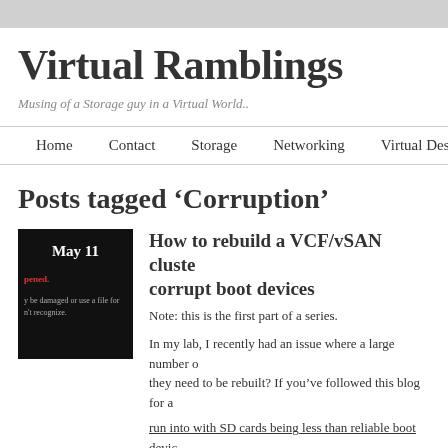Virtual Ramblings
Musing of a Storage guy in a Virtual World..
Home   Contact   Storage   Networking   Virtual Deskt
Posts tagged 'Corruption'
[Figure (screenshot): Thumbnail image showing May 11 date with dark background and error text about file corruption]
How to rebuild a VCF/vSAN cluste corrupt boot devices
Note: this is the first part of a series.
In my lab, I recently had an issue where a large number o they need to be rebuilt? If you've followed this blog for a
run into with SD cards being less than reliable boot devic